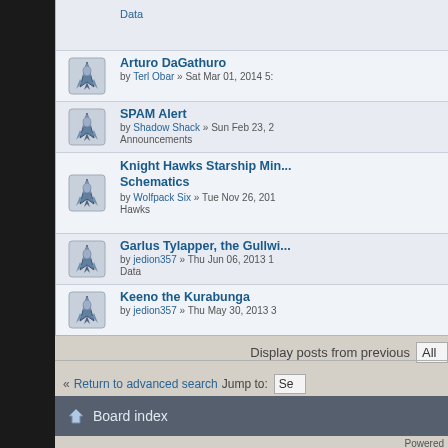Data
Arturo DaGathuro by Terl Obar » Sat Mar 01, 2014 5:...
SPAM Alert by Shadow Shack » Sun Feb 23, 2... Announcements
Knight Hawks Starship Min... Schematics by Wolfpack Six » Tue Nov 26, 201... Hawks
Garlus Tylapper, the Gullwi... by jedion357 » Thu Jun 06, 2013 1... Data
Keeno the Kurabunga by jedion357 » Thu May 30, 2013 3...
Display posts from previous  All
« Return to advanced search  Jump to:  Se...
Board index
Powered by phpBB...